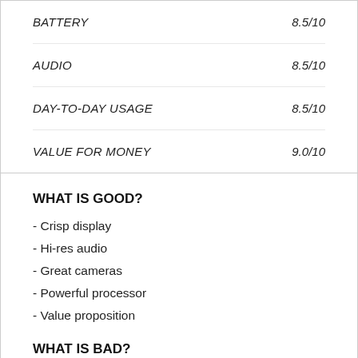| Category | Score |
| --- | --- |
| BATTERY | 8.5/10 |
| AUDIO | 8.5/10 |
| DAY-TO-DAY USAGE | 8.5/10 |
| VALUE FOR MONEY | 9.0/10 |
WHAT IS GOOD?
- Crisp display
- Hi-res audio
- Great cameras
- Powerful processor
- Value proposition
WHAT IS BAD?
- Too big
- High chances of accidental touch, i.e. ...